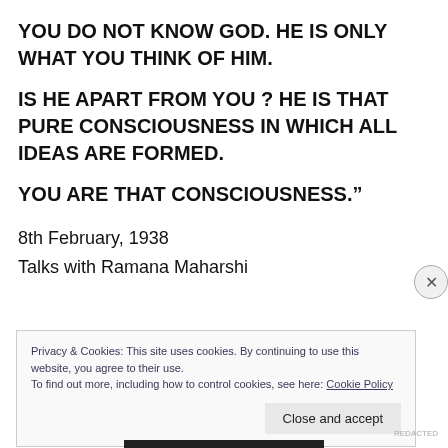YOU DO NOT KNOW GOD. HE IS ONLY WHAT YOU THINK OF HIM.
IS HE APART FROM YOU ? HE IS THAT PURE CONSCIOUSNESS IN WHICH ALL IDEAS ARE FORMED.
YOU ARE THAT CONSCIOUSNESS."
8th February, 1938
Talks with Ramana Maharshi
Privacy & Cookies: This site uses cookies. By continuing to use this website, you agree to their use.
To find out more, including how to control cookies, see here: Cookie Policy